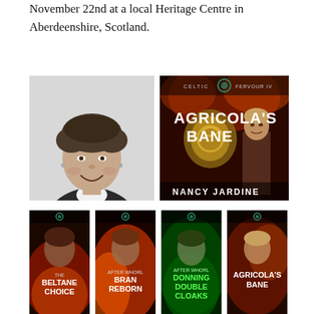November 22nd at a local Heritage Centre in Aberdeenshire, Scotland.
[Figure (photo): Black and white portrait photo of Nancy Jardine, a middle-aged woman with short curly hair, smiling broadly, wearing a dark jacket with a white collar.]
[Figure (illustration): Book cover of 'Agricola's Bane' by Nancy Jardine, Celtic Fervour IV. Dark dramatic cover with a warrior figure and fiery background.]
[Figure (illustration): Four small book covers in a row: The Beltane Choice, After Whorl Bran Reborn, After Whorl Donning Double Cloaks, Agricola's Bane — all Celtic Fervour series by Nancy Jardine.]